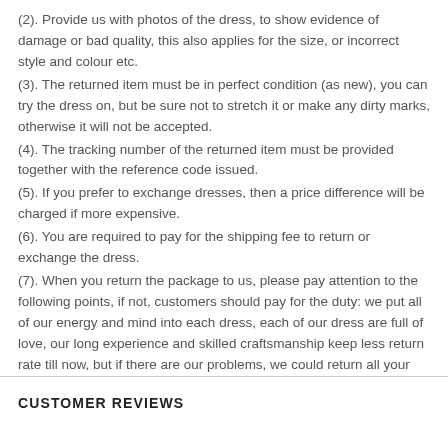(2). Provide us with photos of the dress, to show evidence of damage or bad quality, this also applies for the size, or incorrect style and colour etc.
(3). The returned item must be in perfect condition (as new), you can try the dress on, but be sure not to stretch it or make any dirty marks, otherwise it will not be accepted.
(4). The tracking number of the returned item must be provided together with the reference code issued.
(5). If you prefer to exchange dresses, then a price difference will be charged if more expensive.
(6). You are required to pay for the shipping fee to return or exchange the dress.
(7). When you return the package to us, please pay attention to the following points, if not, customers should pay for the duty: we put all of our energy and mind into each dress, each of our dress are full of love, our long experience and skilled craftsmanship keep less return rate till now, but if there are our problems, we could return all your payment, for more details, please see our FAQ.
CUSTOMER REVIEWS